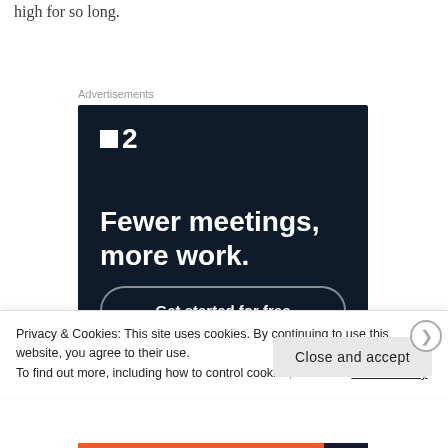high for so long.
Advertisements
[Figure (illustration): Advertisement for a project management tool (P2). Dark navy background with white logo showing a small square and the number 2, bold white headline 'Fewer meetings, more work.' and a rounded button 'Get started for free'.]
Privacy & Cookies: This site uses cookies. By continuing to use this website, you agree to their use.
To find out more, including how to control cookies, see here: Cookie Policy
Close and accept